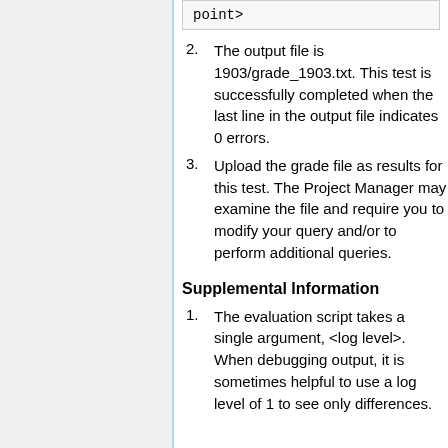point>
2. The output file is 1903/grade_1903.txt. This test is successfully completed when the last line in the output file indicates 0 errors.
3. Upload the grade file as results for this test. The Project Manager may examine the file and require you to modify your query and/or to perform additional queries.
Supplemental Information
1. The evaluation script takes a single argument, <log level>. When debugging output, it is sometimes helpful to use a log level of 1 to see only differences.